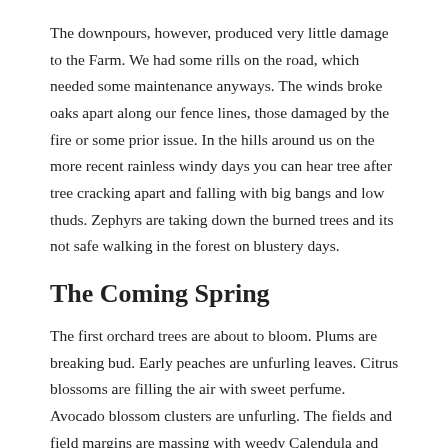The downpours, however, produced very little damage to the Farm. We had some rills on the road, which needed some maintenance anyways. The winds broke oaks apart along our fence lines, those damaged by the fire or some prior issue. In the hills around us on the more recent rainless windy days you can hear tree after tree cracking apart and falling with big bangs and low thuds. Zephyrs are taking down the burned trees and its not safe walking in the forest on blustery days.
The Coming Spring
The first orchard trees are about to bloom. Plums are breaking bud. Early peaches are unfurling leaves. Citrus blossoms are filling the air with sweet perfume. Avocado blossom clusters are unfurling. The fields and field margins are massing with weedy Calendula and oxalis color. And…it is just the beginning!
The biggest show will soon be poppies and then LUPINES. For whatever reason, this is a Huge Lupine Year. Bumble bees are going